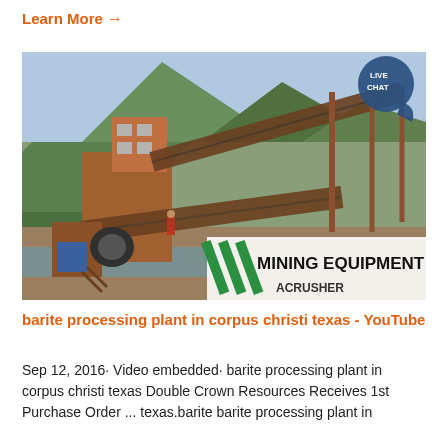Learn More →
[Figure (photo): Mining equipment / crusher machinery at an outdoor site near a river and mountains, with an orange/rust-colored industrial structure and conveyor belts. A watermark reads 'MINING EQUIPMENT ACRUSHER' with green diagonal stripe logos.]
barite processing plant in corpus christi texas - YouTube
Sep 12, 2016· Video embedded· barite processing plant in corpus christi texas Double Crown Resources Receives 1st Purchase Order ... texas.barite barite processing plant in